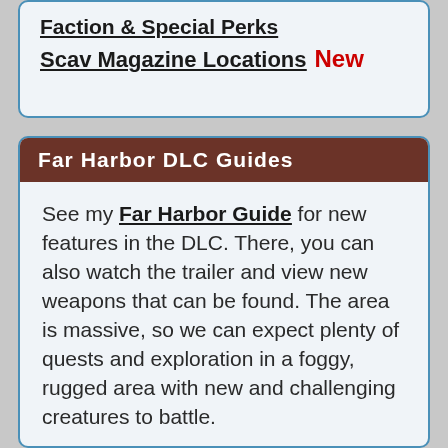Faction & Special Perks
Scav Magazine Locations New
Far Harbor DLC Guides
See my Far Harbor Guide for new features in the DLC. There, you can also watch the trailer and view new weapons that can be found. The area is massive, so we can expect plenty of quests and exploration in a foggy, rugged area with new and challenging creatures to battle.
Pleae note there are different endings for this DLC, something we all wanted! It's like the actual end-game of FO4 in that you can choose the outcome.
Walkthroughs